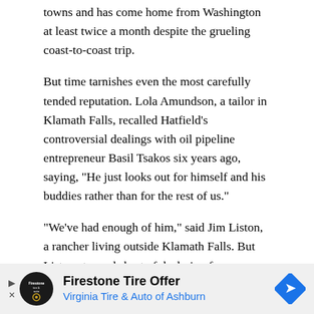towns and has come home from Washington at least twice a month despite the grueling coast-to-coast trip.
But time tarnishes even the most carefully tended reputation. Lola Amundson, a tailor in Klamath Falls, recalled Hatfield's controversial dealings with oil pipeline entrepreneur Basil Tsakos six years ago, saying, "He just looks out for himself and his buddies rather than for the rest of us."
"We've had enough of him," said Jim Liston, a rancher living outside Klamath Falls. But Liston stopped short of declaring for Lonsdale. "I just don't know enough about Lonsdale," he said. "I don't know if he would be a good replacement."
[Figure (other): Advertisement banner for Firestone Tire Offer - Virginia Tire & Auto of Ashburn, with Firestone auto logo and blue diamond arrow icon]